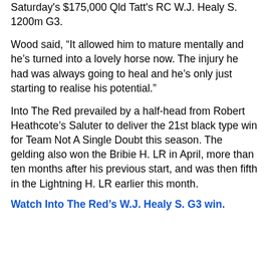Saturday's $175,000 Qld Tatt's RC W.J. Healy S. 1200m G3.
Wood said, “It allowed him to mature mentally and he’s turned into a lovely horse now. The injury he had was always going to heal and he’s only just starting to realise his potential.”
Into The Red prevailed by a half-head from Robert Heathcote’s Saluter to deliver the 21st black type win for Team Not A Single Doubt this season. The gelding also won the Bribie H. LR in April, more than ten months after his previous start, and was then fifth in the Lightning H. LR earlier this month.
Watch Into The Red’s W.J. Healy S. G3 win.